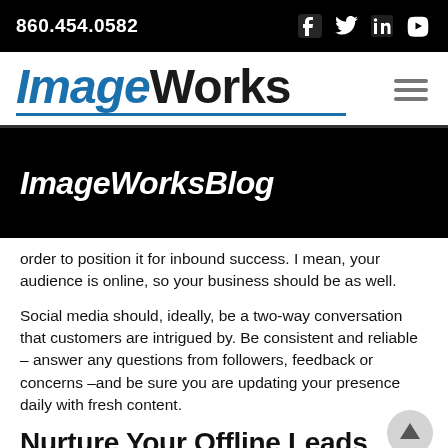860.454.0582
[Figure (logo): ImageWorks logo with blue italic 'Image' and bold dark 'Works' text with blue underline]
ImageWorksBlog
order to position it for inbound success. I mean, your audience is online, so your business should be as well.
Social media should, ideally, be a two-way conversation that customers are intrigued by. Be consistent and reliable – answer any questions from followers, feedback or concerns –and be sure you are updating your presence daily with fresh content.
Nurture Your Offline Leads